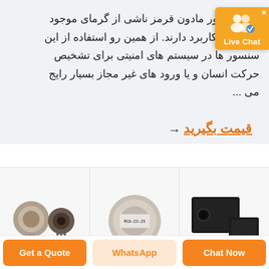بر مبنای نور مادون قرمز ناشی از گرمای موجود در محیط کاربرد دارند. از همین رو استفاده از این سنسور ها در سیستم های امنیتی برای تشخیص حرکت انسان و یا ورود های غیر مجاز بسیار رایج می ...
[Figure (screenshot): Live Chat badge with user icon and orange background]
قیمت بگیرید →
[Figure (photo): Three product images: two metal sensor caps, a round labeled sensor module (MCA-CO-ZX), and two black rectangular optical sensors]
Get a Quote
WhatsApp
Chat Now